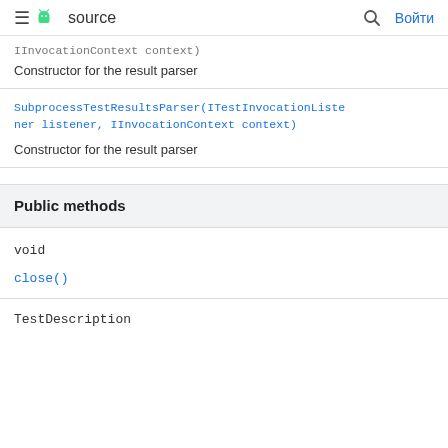≡ source  🔍 Войти
IInvocationContext context)
Constructor for the result parser
SubprocessTestResultsParser(ITestInvocationListener listener, IInvocationContext context)
Constructor for the result parser
Public methods
void
close()
TestDescription